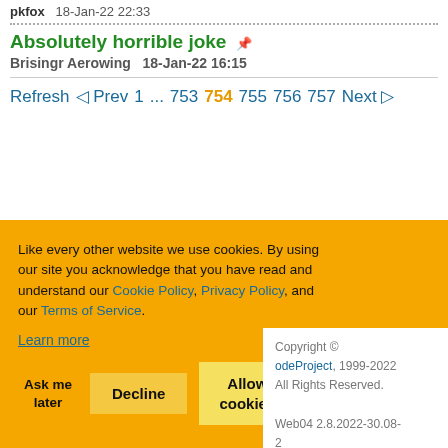pkfox   18-Jan-22 22:33
Absolutely horrible joke
Brisingr Aerowing   18-Jan-22 16:15
Refresh  ◁ Prev  1  ...  753  754  755  756  757  Next ▷
Like every other website we use cookies. By using our site you acknowledge that you have read and understand our Cookie Policy, Privacy Policy, and our Terms of Service.
Learn more
Ask me later   Decline   Allow cookies
Copyright © odeProject, 1999-2022 All Rights Reserved. Web04 2.8.2022-30.08-2